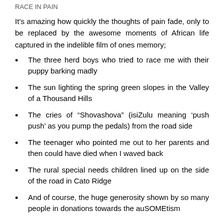RACE IN PAIN
It’s amazing how quickly the thoughts of pain fade, only to be replaced by the awesome moments of African life captured in the indelible film of ones memory;
The three herd boys who tried to race me with their puppy barking madly
The sun lighting the spring green slopes in the Valley of a Thousand Hills
The cries of “Shovashova” (isiZulu meaning ‘push push’ as you pump the pedals) from the road side
The teenager who pointed me out to her parents and then could have died when I waved back
The rural special needs children lined up on the side of the road in Cato Ridge
And of course, the huge generosity shown by so many people in donations towards the auSOMEtism